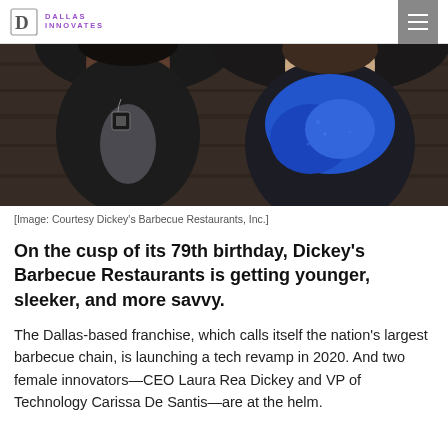Dallas Innovates
[Figure (photo): Two women sitting together; one wearing a dark jacket with a geometric pendant necklace and grey shirt, the other wearing a blue scarf and dark jacket. Background appears to be a dark wood-paneled setting.]
[Image: Courtesy Dickey's Barbecue Restaurants, Inc.]
On the cusp of its 79th birthday, Dickey's Barbecue Restaurants is getting younger, sleeker, and more savvy.
The Dallas-based franchise, which calls itself the nation's largest barbecue chain, is launching a tech revamp in 2020. And two female innovators—CEO Laura Rea Dickey and VP of Technology Carissa De Santis—are at the helm.